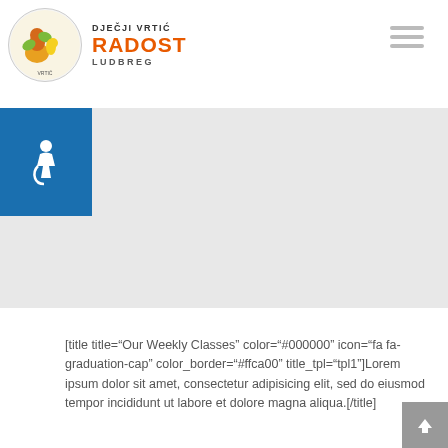[Figure (logo): Dječji Vrtić Radost Ludbreg logo with circular emblem and orange RADOST text]
[Figure (other): Hamburger menu icon (three horizontal gray lines)]
[Figure (other): Blue accessibility wheelchair icon box]
[Figure (other): Gray hero/banner area]
[title title="Our Weekly Classes" color="#000000" icon="fa fa-graduation-cap" color_border="#ffca00" title_tpl="tpl1"]Lorem ipsum dolor sit amet, consectetur adipisicing elit, sed do eiusmod tempor incididunt ut labore et dolore magna aliqua.[/title]
[tb_blog post_type="classes" posts_per_page="6" classes_style="entry2" columns="2" crop_image="1"
[Figure (other): Scroll to top button (gray box with up arrow)]